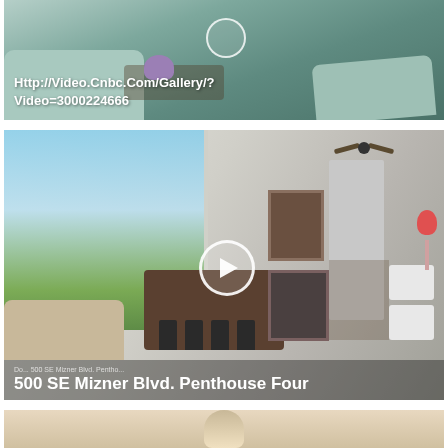[Figure (photo): Interior photo of a luxury living room with teal/green sofa and decorative furniture, with a URL overlay: Http://Video.Cnbc.Com/Gallery/?Video=3000224666]
[Figure (photo): Interior photo of a luxury penthouse apartment showing open-plan living area with floor-to-ceiling windows overlooking cityscape, kitchen island with bar stools, artwork on walls, and white dining chairs. Has a video play button overlay and text '500 SE Mizner Blvd. Penthouse Four']
[Figure (photo): Partial view of a third interior photo showing what appears to be a lamp or light fixture (cropped at bottom of page)]